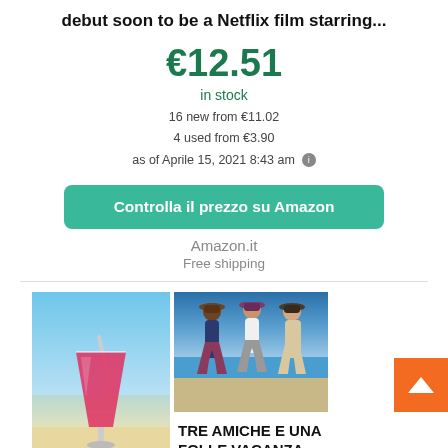debut soon to be a Netflix film starring...
€12.51
in stock
16 new from €11.02
4 used from €3.90
as of Aprile 15, 2021 8:43 am
Controlla il prezzo su Amazon
Amazon.it
Free shipping
[Figure (illustration): Advertisement image with cocktail drink on beach and three women standing on beach, with book title TRE AMICHE E UNA FOLLE VACANZA]
TRE AMICHE E UNA FOLLE VACANZA